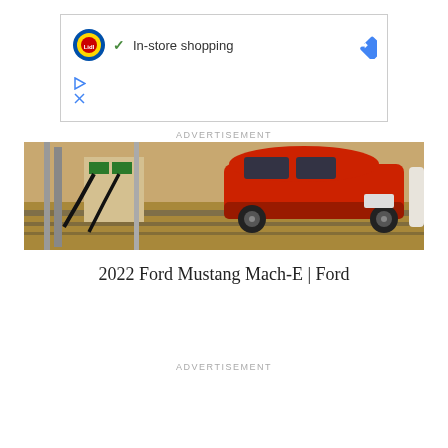[Figure (screenshot): Lidl store ad with In-store shopping text, checkmark, and blue directions diamond icon]
ADVERTISEMENT
[Figure (photo): Photo of a red 2022 Ford Mustang Mach-E SUV at an EV charging station in a desert/sunny setting]
2022 Ford Mustang Mach-E | Ford
ADVERTISEMENT